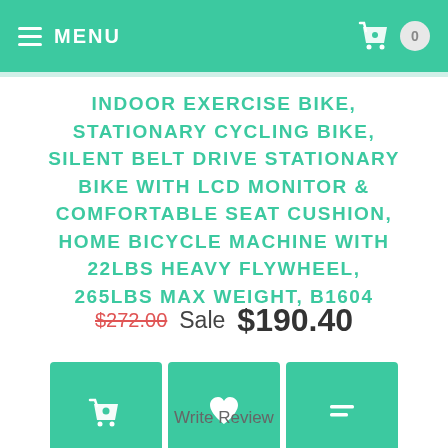MENU  0
INDOOR EXERCISE BIKE, STATIONARY CYCLING BIKE, SILENT BELT DRIVE STATIONARY BIKE WITH LCD MONITOR & COMFORTABLE SEAT CUSHION, HOME BICYCLE MACHINE WITH 22LBS HEAVY FLYWHEEL, 265LBS MAX WEIGHT, B1604
$272.00  Sale $190.40
[Figure (other): Three teal action buttons: basket/add-to-cart icon, heart/wishlist icon, and list/compare icon]
Write Review